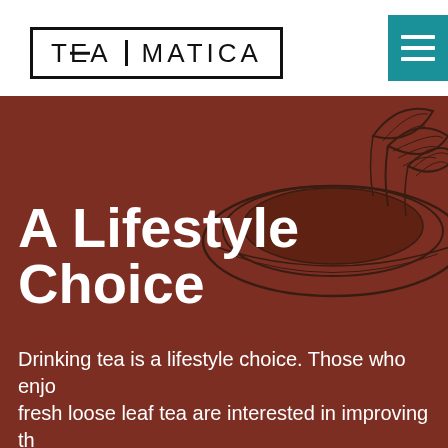[Figure (logo): Tea Matica logo — bold outlined rectangle containing 'TEA' and 'MATICA' text separated by a vertical divider]
[Figure (illustration): Dark green inked illustration of a teacup/bowl with leaves and plant sprigs on a reddish-brown background]
A Lifestyle Choice
Drinking tea is a lifestyle choice. Those who enjoy fresh loose leaf tea are interested in improving their health in a natural way. They also want to support underprivileged communities and diverse cultures from around the world.